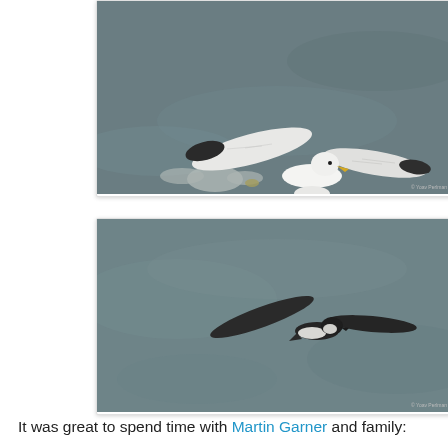[Figure (photo): White gull (seagull) in flight, wings spread, viewed from below/front, against a dark grey-green sea background. A blurred second bird visible in background. Photographer credit: Yoav Perlman]
[Figure (photo): Dark-plumaged bird (possibly a petrel or dark tern) in flight against a grey-green sea background. Bird has dark upperparts and white underparts visible. Photographer credit: Yoav Perlman]
It was great to spend time with Martin Garner and family: